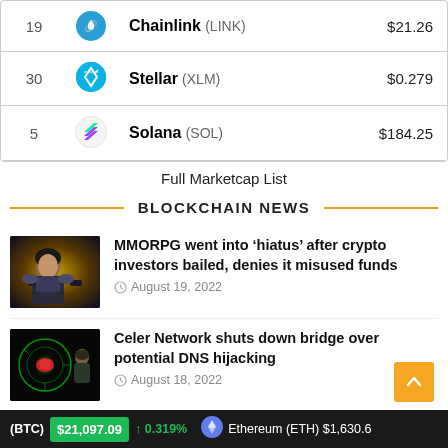| # |  | Name | Price |
| --- | --- | --- | --- |
| 19 |  | Chainlink (LINK) | $21.26 |
| 30 |  | Stellar (XLM) | $0.279 |
| 5 |  | Solana (SOL) | $184.25 |
Full Marketcap List
BLOCKCHAIN NEWS
[Figure (photo): MMORPG game artwork showing a female warrior character in futuristic armor]
MMORPG went into ‘hiatus’ after crypto investors bailed, denies it misused funds
August 19, 2022
[Figure (photo): Celer Network cybersecurity themed image with red glowing network sphere]
Celer Network shuts down bridge over potential DNS hijacking
August 18, 2022
(BTC) $21,097.09 ↑ 0.319%  Ethereum (ETH) $1,630.6